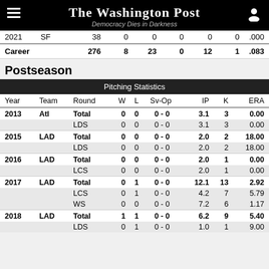The Washington Post — Democracy Dies in Darkness
| Year | Team | G | W | L | Sv | SvOp | BS | ERA |
| --- | --- | --- | --- | --- | --- | --- | --- | --- |
| 2021 | SF | 38 | 0 | 0 | 0 | 0 | 0 | .000 |
| Career |  | 276 | 8 | 23 | 0 | 12 | 1 | .083 |
Postseason
| Year | Team | Round | W | L | Sv-Op | IP | K | ERA |
| --- | --- | --- | --- | --- | --- | --- | --- | --- |
| 2013 | Atl | Total | 0 | 0 | 0 - 0 | 3.1 | 3 | 0.00 |
|  |  | LDS | 0 | 0 | 0 - 0 | 3.1 | 3 | 0.00 |
| 2015 | LAD | Total | 0 | 0 | 0 - 0 | 2.0 | 2 | 18.00 |
|  |  | LDS | 0 | 0 | 0 - 0 | 2.0 | 2 | 18.00 |
| 2016 | LAD | Total | 0 | 0 | 0 - 0 | 2.0 | 1 | 0.00 |
|  |  | LCS | 0 | 0 | 0 - 0 | 2.0 | 1 | 0.00 |
| 2017 | LAD | Total | 0 | 1 | 0 - 0 | 12.1 | 13 | 2.92 |
|  |  | LCS | 0 | 1 | 0 - 0 | 4.2 | 7 | 5.79 |
|  |  | WS | 0 | 0 | 0 - 0 | 7.2 | 6 | 1.17 |
| 2018 | LAD | Total | 1 | 1 | 0 - 0 | 6.2 | 9 | 5.40 |
|  |  | LDS | 0 | 1 | 0 - 0 | 1.0 | 1 | 9.00 |